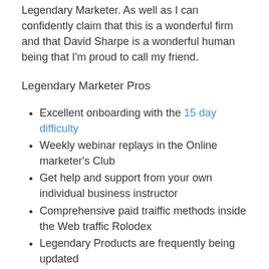Legendary Marketer. As well as I can confidently claim that this is a wonderful firm and that David Sharpe is a wonderful human being that I'm proud to call my friend.
Legendary Marketer Pros
Excellent onboarding with the 15 day difficulty
Weekly webinar replays in the Online marketer's Club
Get help and support from your own individual business instructor
Comprehensive paid traiffic methods inside the Web traffic Rolodex
Legendary Products are frequently being updated